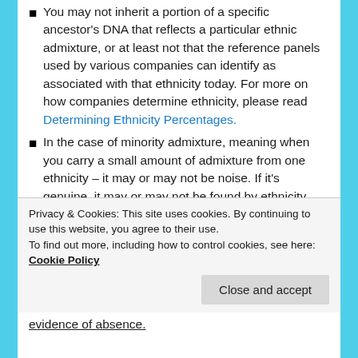You may not inherit a portion of a specific ancestor's DNA that reflects a particular ethnic admixture, or at least not that the reference panels used by various companies can identify as associated with that ethnicity today. For more on how companies determine ethnicity, please read Determining Ethnicity Percentages.
In the case of minority admixture, meaning when you carry a small amount of admixture from one ethnicity – it may or may not be noise. If it's genuine, it may or may not be found by ethnicity tests.
The absence of an ethnicity in your ethnicity results is not evidence that the specific ethnicity was not present in your ancestor, especially back in time several generations.
Privacy & Cookies: This site uses cookies. By continuing to use this website, you agree to their use. To find out more, including how to control cookies, see here: Cookie Policy
evidence of absence.